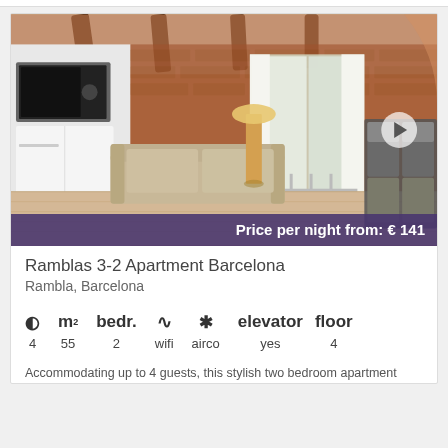[Figure (photo): Interior photo of a Barcelona apartment with brick walls, wooden beam ceiling, sofa, lamp, and dining table. Price overlay at bottom.]
Ramblas 3-2 Apartment Barcelona
Rambla, Barcelona
4  55 m²  bedr. 2  wifi  airco  elevator yes  floor 4
Accommodating up to 4 guests, this stylish two bedroom apartment